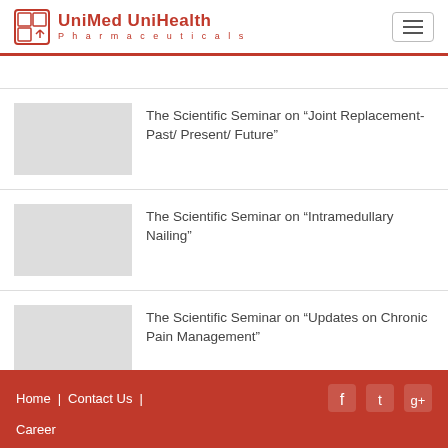UniMed UniHealth Pharmaceuticals
The Scientific Seminar on “Joint Replacement-Past/ Present/ Future”
The Scientific Seminar on “Intramedullary Nailing”
The Scientific Seminar on “Updates on Chronic Pain Management”
Home | Contact Us | Career